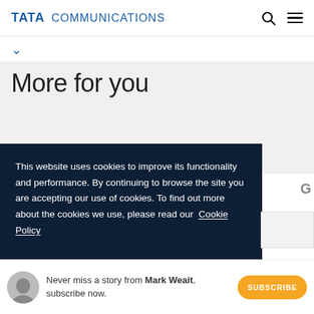TATA COMMUNICATIONS
More for you
This website uses cookies to improve its functionality and performance. By continuing to browse the site you are accepting our use of cookies. To find out more about the cookies we use, please read our Cookie Policy
Never miss a story from Mark Weait, subscribe now.